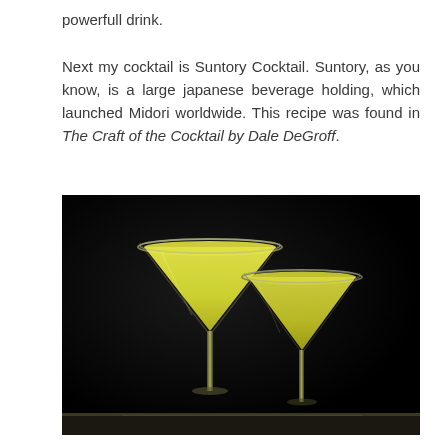powerfull drink.

Next my cocktail is Suntory Cocktail. Suntory, as you know, is a large japanese beverage holding, which launched Midori worldwide. This recipe was found in The Craft of the Cocktail by Dale DeGroff.
[Figure (photo): Two martini glasses filled with yellow-green (Midori) cocktail, photographed against a dark black background, with a bar surface visible at the bottom.]